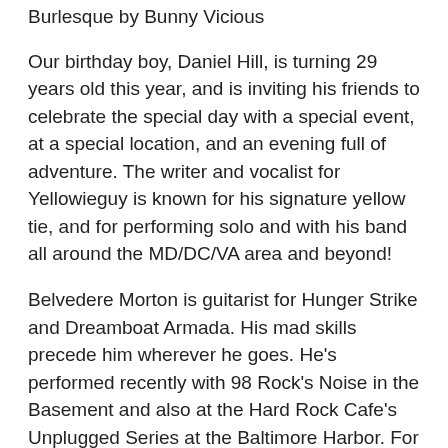Burlesque by Bunny Vicious
Our birthday boy, Daniel Hill, is turning 29 years old this year, and is inviting his friends to celebrate the special day with a special event, at a special location, and an evening full of adventure. The writer and vocalist for Yellowieguy is known for his signature yellow tie, and for performing solo and with his band all around the MD/DC/VA area and beyond!
Belvedere Morton is guitarist for Hunger Strike and Dreamboat Armada. His mad skills precede him wherever he goes. He's performed recently with 98 Rock's Noise in the Basement and also at the Hard Rock Cafe's Unplugged Series at the Baltimore Harbor. For this night you'll hear his songwriting and storytelling skills and hear why his vocals are easily able to contribute to any barbershop quartet.
Baltimore based comedian Justin Jones has performed over 3000 shows during his career. In the